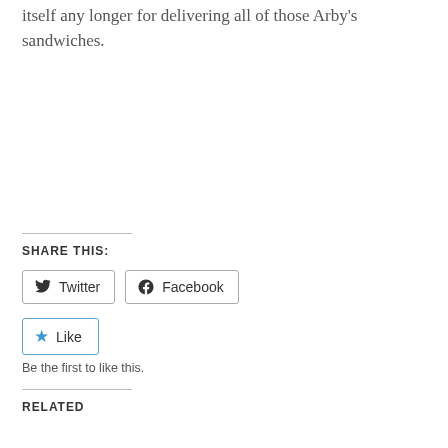itself any longer for delivering all of those Arby's sandwiches.
SHARE THIS:
Twitter
Facebook
Like
Be the first to like this.
RELATED